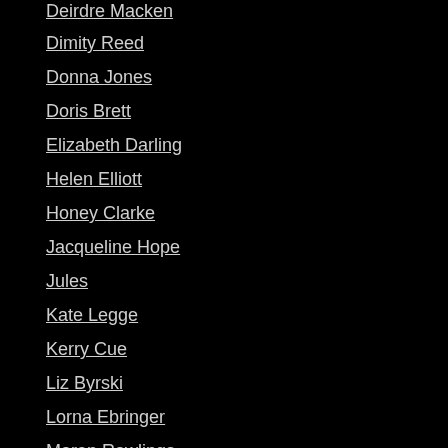Deirdre Macken
Dimity Reed
Donna Jones
Doris Brett
Elizabeth Darling
Helen Elliott
Honey Clarke
Jacqueline Hope
Jules
Kate Legge
Kerry Cue
Liz Byrski
Lorna Ebringer
Maren Rawlings
Maureen Wheeler